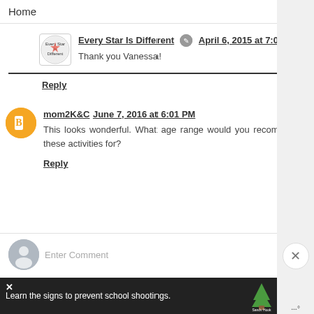Home ▼
Every Star Is Different  April 6, 2015 at 7:01 AM
Thank you Vanessa!
Reply
mom2K&C  June 7, 2016 at 6:01 PM
This looks wonderful. What age range would you recommend these activities for?
Reply
Enter Comment
Learn the signs to prevent school shootings.